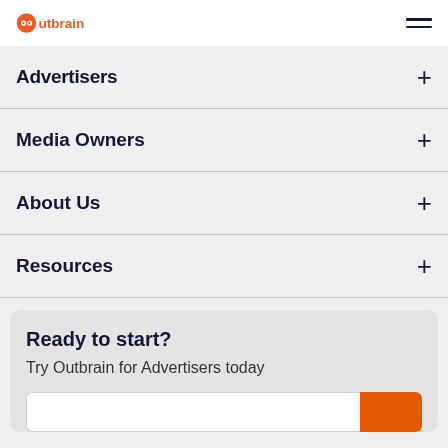Outbrain [logo] [hamburger menu]
Advertisers
Media Owners
About Us
Resources
Ready to start?
Try Outbrain for Advertisers today